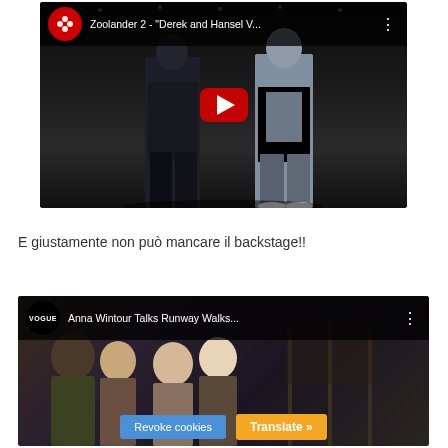[Figure (screenshot): YouTube video thumbnail for 'Zoolander 2 - Derek and Hansel V...' showing two male fashion models walking a dark runway, with YouTube play button overlay and channel logo.]
E giustamente non può mancare il backstage!!
[Figure (screenshot): YouTube video thumbnail for 'Anna Wintour Talks Runway Walks...' from VOGUE channel, showing a backstage scene with people. Cookie consent bar visible at bottom with 'Revoke cookies' and 'Translate »' buttons.]